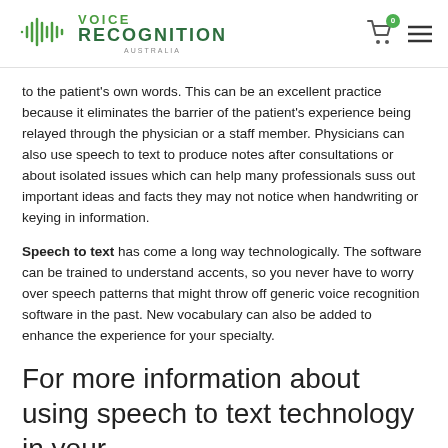Voice Recognition Australia
to the patient's own words. This can be an excellent practice because it eliminates the barrier of the patient's experience being relayed through the physician or a staff member. Physicians can also use speech to text to produce notes after consultations or about isolated issues which can help many professionals suss out important ideas and facts they may not notice when handwriting or keying in information.
Speech to text has come a long way technologically. The software can be trained to understand accents, so you never have to worry over speech patterns that might throw off generic voice recognition software in the past. New vocabulary can also be added to enhance the experience for your specialty.
For more information about using speech to text technology in your